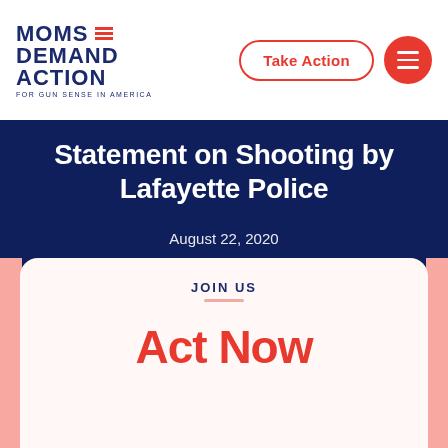[Figure (logo): Moms Demand Action for Gun Sense in America logo with three red lines]
Take Action
Statement on Shooting by Lafayette Police
August 22, 2020
JOIN US
Act Now